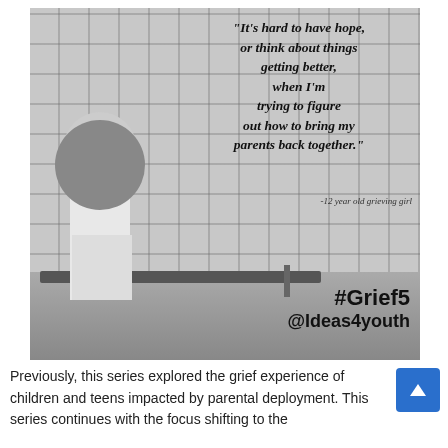[Figure (photo): Black and white photo of a young girl with long dark hair sitting hunched over on a bench in a tiled room, head bowed down. Overlaid with an italic bold quote: '"It's hard to have hope, or think about things getting better, when I'm trying to figure out how to bring my parents back together."' with attribution '-12 year old grieving girl', and '#Grief5 @Ideas4youth' in the lower right.]
Previously, this series explored the grief experience of children and teens impacted by parental deployment. This series continues with the focus shifting to the